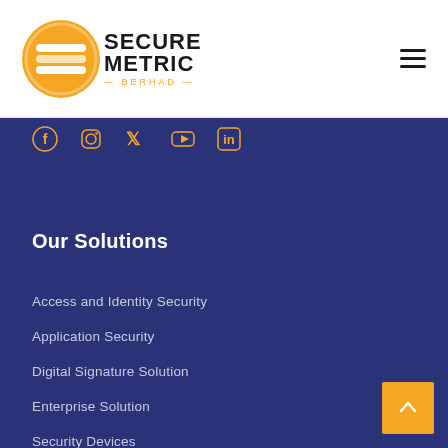[Figure (logo): SecureMetric Berhad logo: orange circle with white horizontal bar icon on left, bold black text SECURE METRIC with gold BERHAD subtitle on right]
[Figure (infographic): Social media icons row: Facebook, Instagram, Twitter, YouTube, LinkedIn icons in orange/gold on dark blue background]
Our Solutions
Access and Identity Security
Application Security
Digital Signature Solution
Enterprise Solution
Security Devices
Trust Centre Solutions